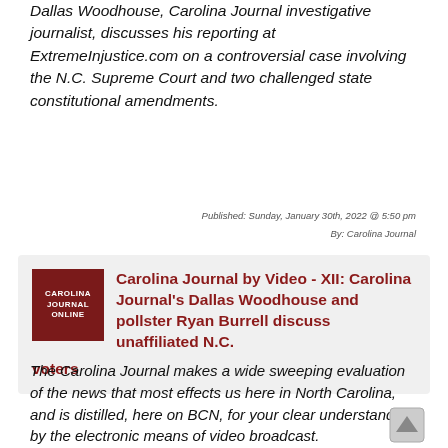Dallas Woodhouse, Carolina Journal investigative journalist, discusses his reporting at ExtremeInjustice.com on a controversial case involving the N.C. Supreme Court and two challenged state constitutional amendments.
Published: Sunday, January 30th, 2022 @ 5:50 pm
By: Carolina Journal
[Figure (other): Carolina Journal Online logo — dark red square with white text reading CAROLINA JOURNAL ONLINE]
Carolina Journal by Video - XII: Carolina Journal's Dallas Woodhouse and pollster Ryan Burrell discuss unaffiliated N.C. voters
The Carolina Journal makes a wide sweeping evaluation of the news that most effects us here in North Carolina, and is distilled, here on BCN, for your clear understanding by the electronic means of video broadcast.